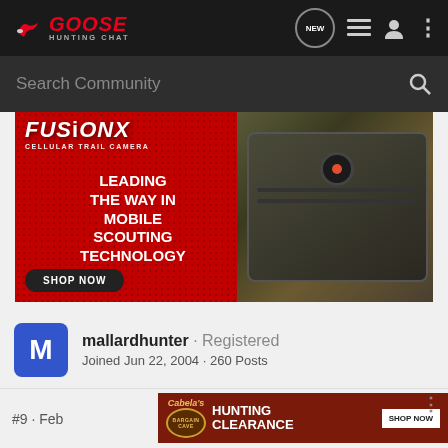GOOSE HUNTING CHAT
[Figure (screenshot): Search Community bar with magnifying glass icon]
[Figure (photo): FusionX Cellular Trail Camera ad — red background with camouflage camera, text: FUSIONX CELLULAR TRAIL CAMERA, LEADING THE WAY IN MOBILE SCOUTING TECHNOLOGY, SHOP NOW]
mallardhunter · Registered
Joined Jun 22, 2004 · 260 Posts
#9 · Feb
[Figure (photo): Cabela's Bargain Cave Hunting Clearance ad with SHOP NOW button]